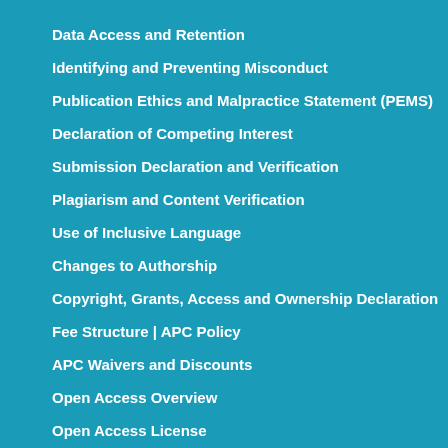Data Access and Retention
Identifying and Preventing Misconduct
Publication Ethics and Malpractice Statement (PEMS)
Declaration of Competing Interest
Submission Declaration and Verification
Plagiarism and Content Verification
Use of Inclusive Language
Changes to Authorship
Copyright, Grants, Access and Ownership Declaration
Fee Structure | APC Policy
APC Waivers and Discounts
Open Access Overview
Open Access License
Conflict of Interest, Human and Animal rights, and Informed